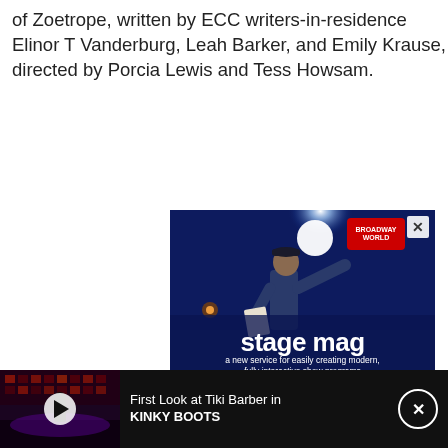of Zoetrope, written by ECC writers-in-residence Elinor T Vanderburg, Leah Barker, and Emily Krause, directed by Porcia Lewis and Tess Howsam.
[Figure (photo): Advertisement for 'stage mag' service showing a person on a dimly lit stage holding papers, looking upward at a bright light, with text 'stage mag' and 'a new service for easily creating modern, fully interactive show programs'. A Broadway World logo appears in the upper right.]
[Figure (screenshot): Video thumbnail bar showing a dark theater stage with colorful lights, a play button overlay, and text 'First Look at Tiki Barber in KINKY BOOTS' with a close button.]